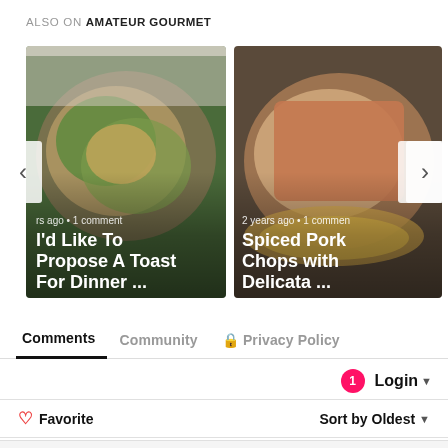ALSO ON AMATEUR GOURMET
[Figure (photo): Carousel of two food blog post images: 1) A toast with salad topping, titled 'I'd Like To Propose A Toast For Dinner ...' with meta '...rs ago • 1 comment'. 2) Spiced pork chops with squash, titled 'Spiced Pork Chops with Delicata ...' with meta '2 years ago • 1 comment'. Left and right navigation arrows visible.]
Comments
Community
🔒 Privacy Policy
1 Login ▾
♡ Favorite
Sort by Oldest ▾